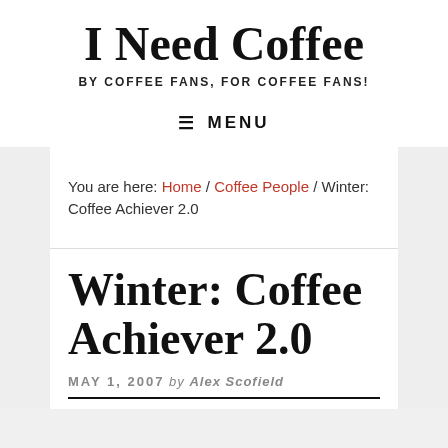I Need Coffee
BY COFFEE FANS, FOR COFFEE FANS!
≡ MENU
You are here: Home / Coffee People / Winter: Coffee Achiever 2.0
Winter: Coffee Achiever 2.0
MAY 1, 2007 by Alex Scofield